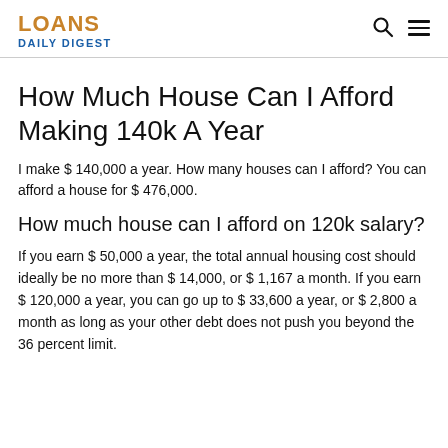LOANS DAILY DIGEST
How Much House Can I Afford Making 140k A Year
I make $ 140,000 a year. How many houses can I afford? You can afford a house for $ 476,000.
How much house can I afford on 120k salary?
If you earn $ 50,000 a year, the total annual housing cost should ideally be no more than $ 14,000, or $ 1,167 a month. If you earn $ 120,000 a year, you can go up to $ 33,600 a year, or $ 2,800 a month as long as your other debt does not push you beyond the 36 percent limit.